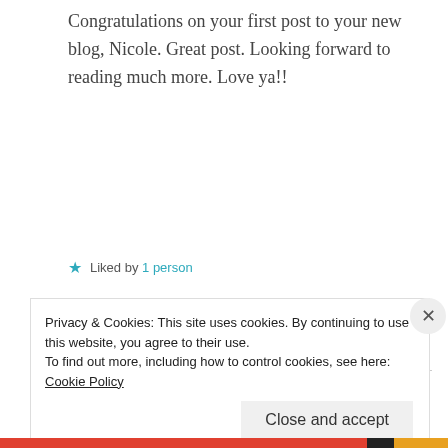Congratulations on your first post to your new blog, Nicole. Great post. Looking forward to reading much more. Love ya!!
★ Liked by 1 person
REPLY
Nicole
Privacy & Cookies: This site uses cookies. By continuing to use this website, you agree to their use.
To find out more, including how to control cookies, see here: Cookie Policy
Close and accept